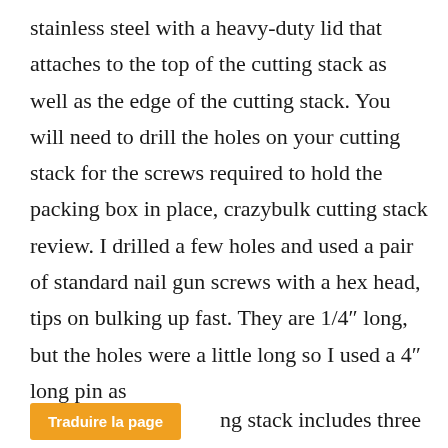stainless steel with a heavy-duty lid that attaches to the top of the cutting stack as well as the edge of the cutting stack. You will need to drill the holes on your cutting stack for the screws required to hold the packing box in place, crazybulk cutting stack review. I drilled a few holes and used a pair of standard nail gun screws with a hex head, tips on bulking up fast. They are 1/4″ long, but the holes were a little long so I used a 4″ long pin as
ng stack includes three